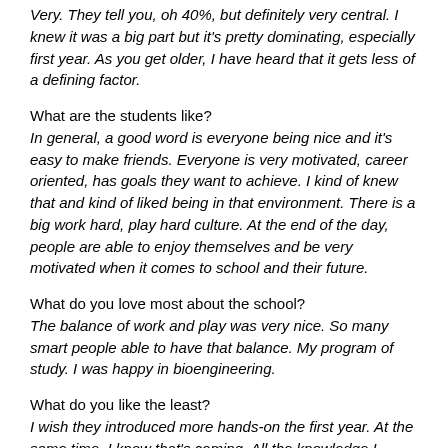Very. They tell you, oh 40%, but definitely very central. I knew it was a big part but it's pretty dominating, especially first year. As you get older, I have heard that it gets less of a defining factor.
What are the students like?
In general, a good word is everyone being nice and it's easy to make friends. Everyone is very motivated, career oriented, has goals they want to achieve. I kind of knew that and kind of liked being in that environment. There is a big work hard, play hard culture. At the end of the day, people are able to enjoy themselves and be very motivated when it comes to school and their future.
What do you love most about the school?
The balance of work and play was very nice. So many smart people able to have that balance. My program of study. I was happy in bioengineering.
What do you like the least?
I wish they introduced more hands-on the first year. At the same time, I know that's coming. All the knowledge I learned this year will be important when it does come. They know